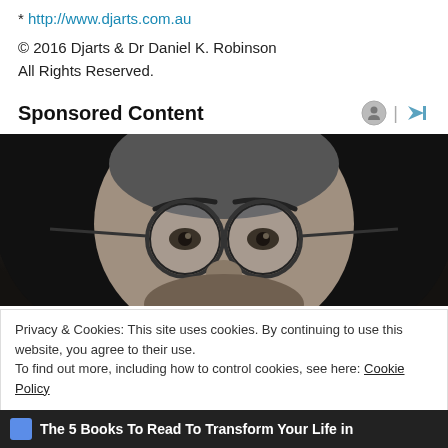* http://www.djarts.com.au
© 2016 Djarts & Dr Daniel K. Robinson
All Rights Reserved.
Sponsored Content
[Figure (photo): Black and white close-up photo of a person wearing round glasses, showing mostly the upper half of their face with dark long hair]
Privacy & Cookies: This site uses cookies. By continuing to use this website, you agree to their use.
To find out more, including how to control cookies, see here: Cookie Policy
Close and accept
The 5 Books To Read To Transform Your Life in